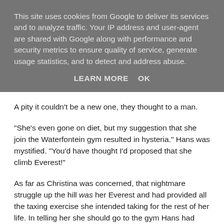This site uses cookies from Google to deliver its services and to analyze traffic. Your IP address and user-agent are shared with Google along with performance and security metrics to ensure quality of service, generate usage statistics, and to detect and address abuse.
LEARN MORE    OK
A pity it couldn't be a new one, they thought to a man.
"She's even gone on diet, but my suggestion that she join the Waterfontein gym resulted in hysteria." Hans was mystified. "You'd have thought I'd proposed that she climb Everest!"
As far as Christina was concerned, that nightmare struggle up the hill was her Everest and had provided all the taxing exercise she intended taking for the rest of her life. In telling her she should go to the gym Hans had inflamed her to the point where he had come perilously close to having